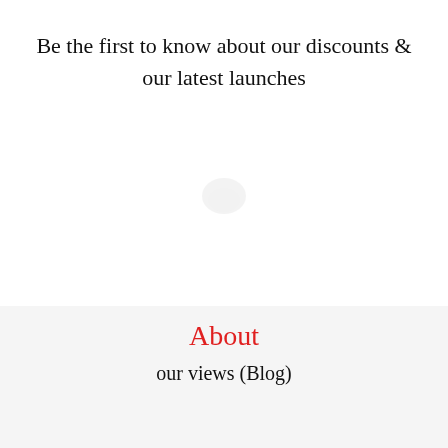Be the first to know about our discounts & our latest launches
About
our views (Blog)